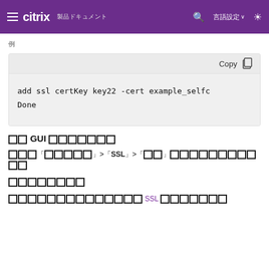≡ citrix 製品ドキュメント  🔍  言語設定 ∨  ☀
例
[Figure (screenshot): Code block with toolbar showing Copy button and code: add ssl certKey key22 -cert example_selfc
Done]
□□ GUI □□□□□□□
移動「トラフィックの管理」>「SSL」>「証明書」を選択してバインドを実行します。
関連情報
□□□□□□□□□□□□□ SSL □□□□□□□